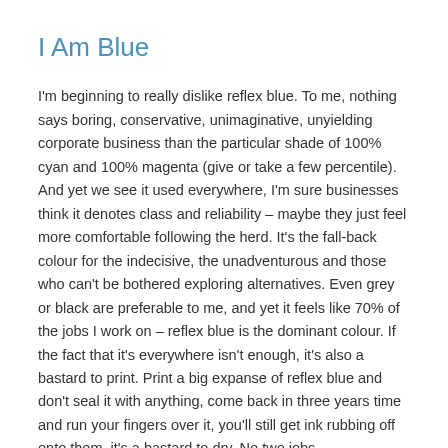I Am Blue
I'm beginning to really dislike reflex blue. To me, nothing says boring, conservative, unimaginative, unyielding corporate business than the particular shade of 100% cyan and 100% magenta (give or take a few percentile). And yet we see it used everywhere, I'm sure businesses think it denotes class and reliability – maybe they just feel more comfortable following the herd. It's the fall-back colour for the indecisive, the unadventurous and those who can't be bothered exploring alternatives. Even grey or black are preferable to me, and yet it feels like 70% of the jobs I work on – reflex blue is the dominant colour. If the fact that it's everywhere isn't enough, it's also a bastard to print. Print a big expanse of reflex blue and don't seal it with anything, come back in three years time and run your fingers over it, you'll still get ink rubbing off onto them, it's a bastard to dry. No two jobs